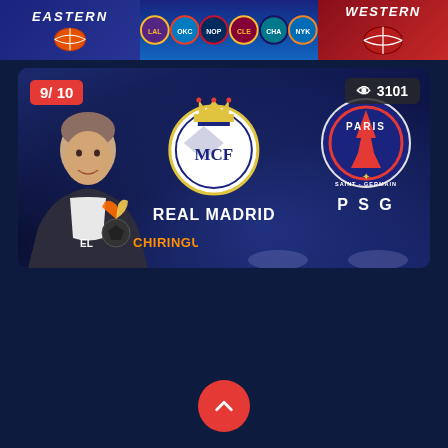[Figure (screenshot): Top banner with NBA Eastern and Western conference logos and team logos row]
[Figure (screenshot): El Chiringuito TV card showing Real Madrid vs PSG with badge 9/10 and 3101 views]